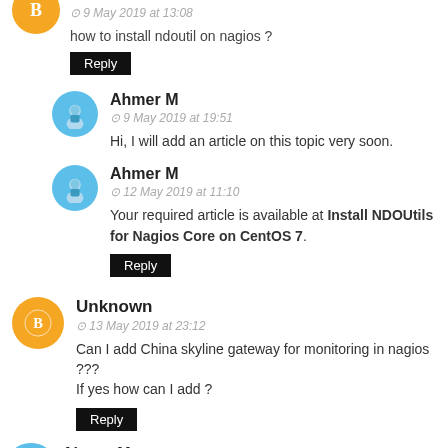9 May 2019 at 13:08
how to install ndoutil on nagios ?
Reply
Ahmer M
9 May 2019 at 19:51
Hi, I will add an article on this topic very soon.
Ahmer M
12 May 2019 at 11:10
Your required article is available at Install NDOUtils for Nagios Core on CentOS 7.
Reply
Unknown
13 May 2019 at 23:12
Can I add China skyline gateway for monitoring in nagios ??? If yes how can I add ?
Reply
Ahmer M